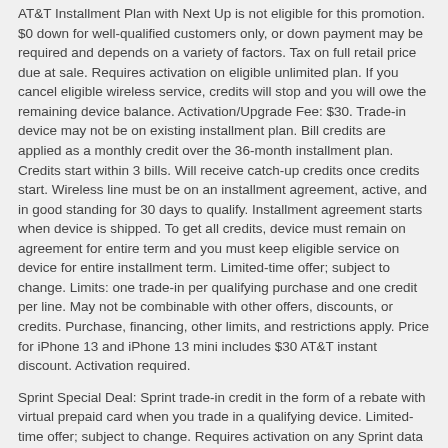AT&T Installment Plan with Next Up is not eligible for this promotion. $0 down for well-qualified customers only, or down payment may be required and depends on a variety of factors. Tax on full retail price due at sale. Requires activation on eligible unlimited plan. If you cancel eligible wireless service, credits will stop and you will owe the remaining device balance. Activation/Upgrade Fee: $30. Trade-in device may not be on existing installment plan. Bill credits are applied as a monthly credit over the 36-month installment plan. Credits start within 3 bills. Will receive catch-up credits once credits start. Wireless line must be on an installment agreement, active, and in good standing for 30 days to qualify. Installment agreement starts when device is shipped. To get all credits, device must remain on agreement for entire term and you must keep eligible service on device for entire installment term. Limited-time offer; subject to change. Limits: one trade-in per qualifying purchase and one credit per line. May not be combinable with other offers, discounts, or credits. Purchase, financing, other limits, and restrictions apply. Price for iPhone 13 and iPhone 13 mini includes $30 AT&T instant discount. Activation required.
Sprint Special Deal: Sprint trade-in credit in the form of a rebate with virtual prepaid card when you trade in a qualifying device. Limited-time offer; subject to change. Requires activation on any Sprint data plan and submission of a promo code at promotions.t-mobile.com. $200 rebate via virtual prepaid Mastercard® Card, which you can use online or in-store via accepted mobile payment apps; no cash access & expires in 6 months from issuance. Card is issued by Sunrise Banks N.A., Member FDIC, pursuant to a license from Mastercard International Incorporated. Mastercard is a